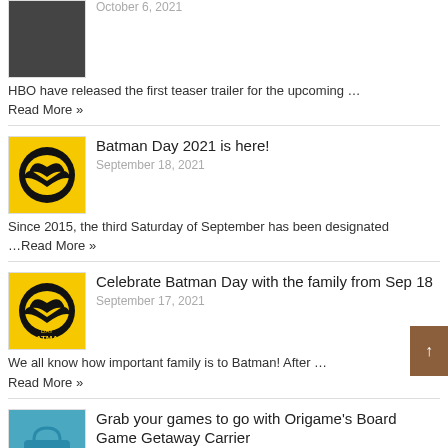October 6, 2021
HBO have released the first teaser trailer for the upcoming …
Read More »
Batman Day 2021 is here!
September 18, 2021
Since 2015, the third Saturday of September has been designated …Read More »
Celebrate Batman Day with the family from Sep 18
September 17, 2021
We all know how important family is to Batman! After …
Read More »
Grab your games to go with Origame's Board Game Getaway Carrier
September 13, 2021
Singapore-based board game designer and retailer Origame has launched it's …Read More »
PlayStation Showcase 2021: Marvel's Spider-Man 2